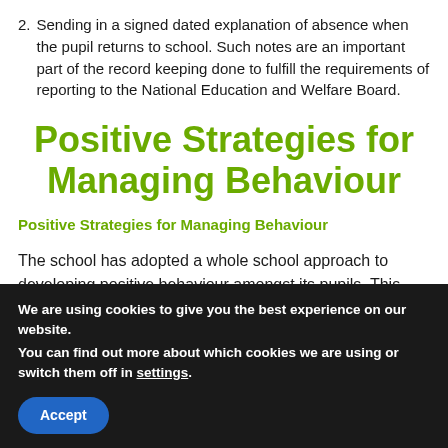2. Sending in a signed dated explanation of absence when the pupil returns to school. Such notes are an important part of the record keeping done to fulfill the requirements of reporting to the National Education and Welfare Board.
Positive Strategies for Managing Behaviour
Positive Strategies for Managing Behaviour
The school has adopted a whole school approach to developing positive behaviour amongst its pupils. This
We are using cookies to give you the best experience on our website.
You can find out more about which cookies we are using or switch them off in settings.
[Accept]